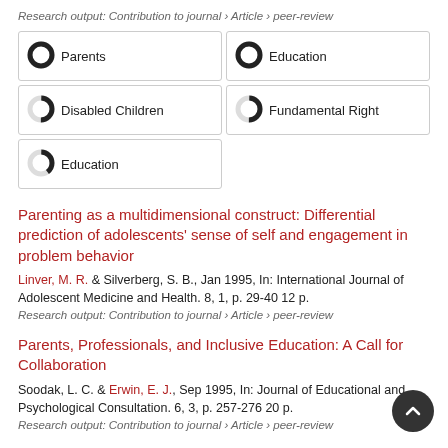Research output: Contribution to journal › Article › peer-review
[Figure (other): Keywords grid with donut-style icons showing percentage fill: Parents (100%), Education (100%), Disabled Children (50%), Fundamental Right (50%), Education (40%)]
Parenting as a multidimensional construct: Differential prediction of adolescents' sense of self and engagement in problem behavior
Linver, M. R. & Silverberg, S. B., Jan 1995, In: International Journal of Adolescent Medicine and Health. 8, 1, p. 29-40 12 p.
Research output: Contribution to journal › Article › peer-review
Parents, Professionals, and Inclusive Education: A Call for Collaboration
Soodak, L. C. & Erwin, E. J., Sep 1995, In: Journal of Educational and Psychological Consultation. 6, 3, p. 257-276 20 p.
Research output: Contribution to journal › Article › peer-review